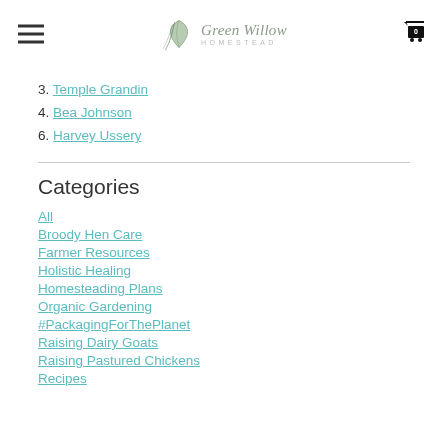Green Willow Homestead
3. Temple Grandin
4. Bea Johnson
6. Harvey Ussery
Categories
All
Broody Hen Care
Farmer Resources
Holistic Healing
Homesteading Plans
Organic Gardening
#PackagingForThePlanet
Raising Dairy Goats
Raising Pastured Chickens
Recipes